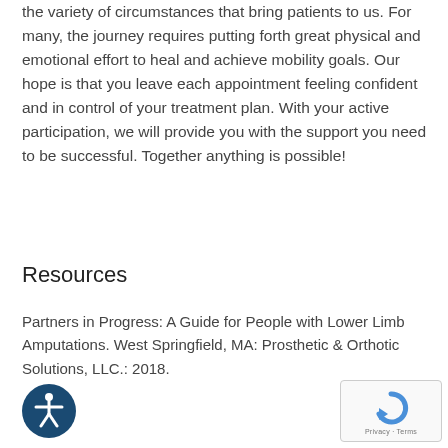the variety of circumstances that bring patients to us. For many, the journey requires putting forth great physical and emotional effort to heal and achieve mobility goals. Our hope is that you leave each appointment feeling confident and in control of your treatment plan. With your active participation, we will provide you with the support you need to be successful. Together anything is possible!
Resources
Partners in Progress: A Guide for People with Lower Limb Amputations. West Springfield, MA: Prosthetic & Orthotic Solutions, LLC.: 2018.
[Figure (logo): Accessibility icon — circular dark blue badge with a white stylized person figure]
[Figure (logo): Google reCAPTCHA logo with Privacy and Terms text]